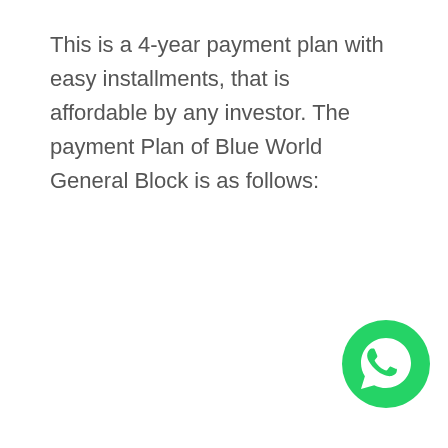This is a 4-year payment plan with easy installments, that is affordable by any investor. The payment Plan of Blue World General Block is as follows:
[Figure (logo): WhatsApp icon — green circle with white speech bubble and phone handset symbol]